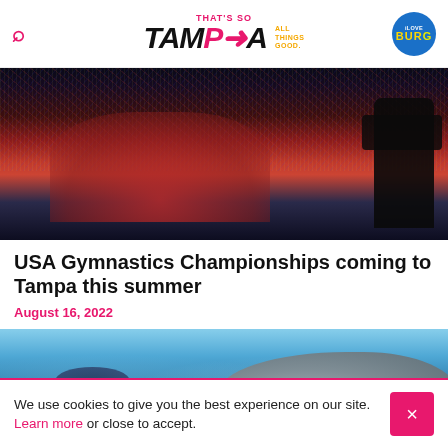That's So Tampa — All Things Good. iLoveBurg
[Figure (photo): USA Gymnastics team celebrating in red uniforms with confetti falling, with a camera operator on the right]
USA Gymnastics Championships coming to Tampa this summer
August 16, 2022
[Figure (photo): Underwater photo showing a manatee and a diver in blue water]
We use cookies to give you the best experience on our site. Learn more or close to accept.